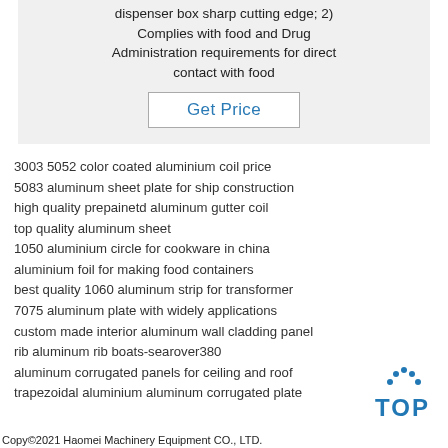dispenser box sharp cutting edge; 2) Complies with food and Drug Administration requirements for direct contact with food
Get Price
3003 5052 color coated aluminium coil price
5083 aluminum sheet plate for ship construction
high quality prepainetd aluminum gutter coil
top quality aluminum sheet
1050 aluminium circle for cookware in china
aluminium foil for making food containers
best quality 1060 aluminum strip for transformer
7075 aluminum plate with widely applications
custom made interior aluminum wall cladding panel
rib aluminum rib boats-searover380
aluminum corrugated panels for ceiling and roof
trapezoidal aluminium aluminum corrugated plate
[Figure (logo): TOP logo with dotted arc above the word TOP in blue]
Copy©2021 Haomei Machinery Equipment CO., LTD.